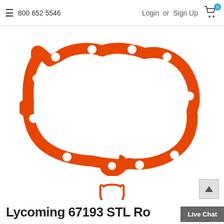≡  800 652 5546    Login  or  Sign Up  🛒 0
[Figure (photo): Orange silicone gasket (Lycoming 67193) shown in large view — a wide, irregular oval shape with multiple bolt holes around the perimeter, on a white background]
[Figure (photo): Small thumbnail of the same orange gasket, showing a compact trapezoidal silhouette]
Lycoming 67193 STL Ro...